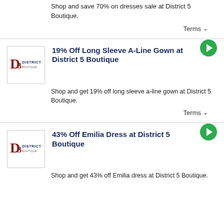Shop and save 70% on dresses sale at District 5 Boutique.
Terms
19% Off Long Sleeve A-Line Gown at District 5 Boutique
Shop and get 19% off long sleeve a-line gown at District 5 Boutique.
Terms
43% Off Emilia Dress at District 5 Boutique
Shop and get 43% off Emilia dress at District 5 Boutique.